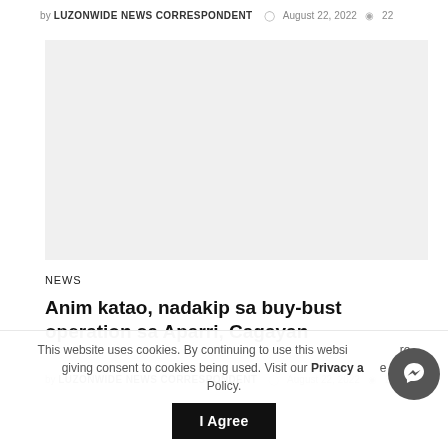by LUZONWIDE NEWS CORRESPONDENT  August 22, 2022  22
[Figure (photo): Gray placeholder image box]
NEWS
Anim katao, nadakip sa buy-bust operation sa Aparri, Cagayan
by LUZONWIDE NEWS CORRESPONDENT  August 22, 2022  23
This website uses cookies. By continuing to use this website, you are giving consent to cookies being used. Visit our Privacy and Cookie Policy.